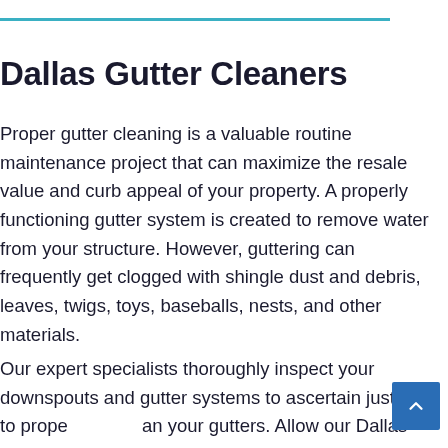Dallas Gutter Cleaners
Proper gutter cleaning is a valuable routine maintenance project that can maximize the resale value and curb appeal of your property. A properly functioning gutter system is created to remove water from your structure. However, guttering can frequently get clogged with shingle dust and debris, leaves, twigs, toys, baseballs, nests, and other materials.
Our expert specialists thoroughly inspect your downspouts and gutter systems to ascertain just how to properly clean your gutters. Allow our Dallas Gutter Cleaning technicians